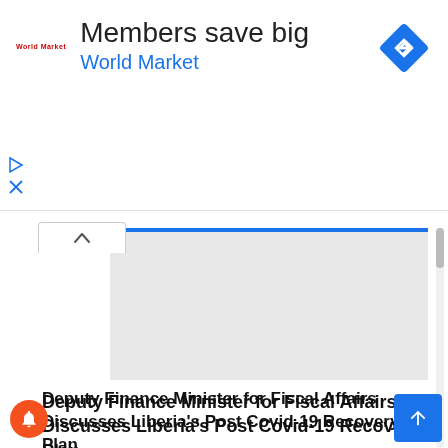[Figure (screenshot): Advertisement banner for World Market with text 'Members save big' and 'World Market' in blue, with a blue diamond navigation icon on the right]
[Figure (photo): Article thumbnail image placeholder with blue top border, light gray background]
Deputy Finance Minister for Fiscal Affairs Discusses Liberia's Post Covid-19 Recovery Plan
Alpha Daffae Senkp...   Jun 30, 2020   0
The government is opting to tackle the fallout from the pandemic in two-fold: focusing on immediate priorities and implementing reforms to boost resilience beyond the crisis. Monrovia - In the wake of the enormous challenges posed by...